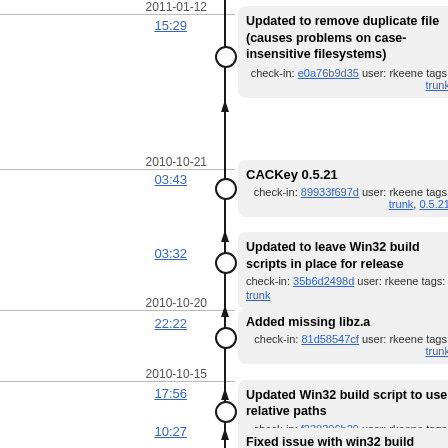2011-01-12
15:29
Updated to remove duplicate file (causes problems on case-insensitive filesystems)
check-in: e0a76b9d35 user: rkeene tags: trunk
2010-10-21
03:43
CACKey 0.5.21
check-in: 89933f697d user: rkeene tags: trunk, 0.5.21
03:32
Updated to leave Win32 build scripts in place for release
check-in: 35b6d2498d user: rkeene tags: trunk
2010-10-20
22:22
Added missing libz.a
check-in: 81d58547cf user: rkeene tags: trunk
2010-10-15
17:56
Updated Win32 build script to use relative paths
check-in: f238396b29 user: rkeene tags: trunk
10:27
Fixed issue with win32 build script
Updated ignore...